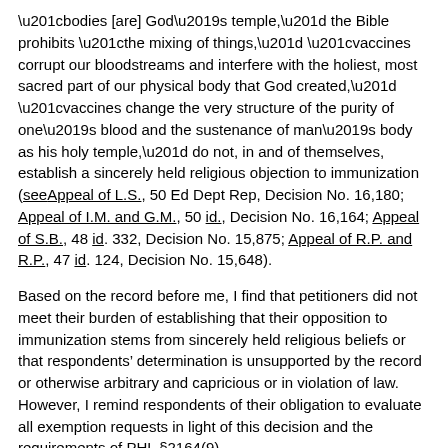“bodies [are] God’s temple,” the Bible prohibits “the mixing of things,” “vaccines corrupt our bloodstreams and interfere with the holiest, most sacred part of our physical body that God created,” “vaccines change the very structure of the purity of one’s blood and the sustenance of man’s body as his holy temple,” do not, in and of themselves, establish a sincerely held religious objection to immunization (seeAppeal of L.S., 50 Ed Dept Rep, Decision No. 16,180; Appeal of I.M. and G.M., 50 id., Decision No. 16,164; Appeal of S.B., 48 id. 332, Decision No. 15,875; Appeal of R.P. and R.P., 47 id. 124, Decision No. 15,648).
Based on the record before me, I find that petitioners did not meet their burden of establishing that their opposition to immunization stems from sincerely held religious beliefs or that respondents’ determination is unsupported by the record or otherwise arbitrary and capricious or in violation of law. However, I remind respondents of their obligation to evaluate all exemption requests in light of this decision and the requirements of PHL §2164(9).
In light of this disposition, I need not consider the parties’ remaining contentions.
THE APPEAL IS DISMISSED.